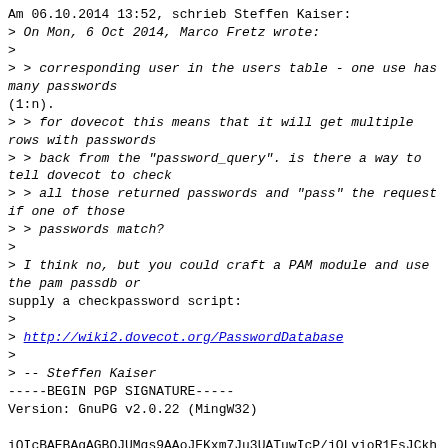Am 06.10.2014 13:52, schrieb Steffen Kaiser:
> On Mon, 6 Oct 2014, Marco Fretz wrote:
>
> > corresponding user in the users table - one use has many passwords
(1:n).
> > for dovecot this means that it will get multiple rows with passwords
> > back from the "password_query". is there a way to tell dovecot to check
> > all those returned passwords and "pass" the request if one of those
> > passwords match?
>
> I think no, but you could craft a PAM module and use the pam passdb or
supply a checkpassword script:
>
> http://wiki2.dovecot.org/PasswordDatabase
>
> -- Steffen Kaiser
-----BEGIN PGP SIGNATURE-----
Version: GnuGP v2.0.22 (MingW32)

iQIcBAEBAgAGBQJUMqs9AAoJEKxm7Ju3UATuwIcP/jOLvioR1EsJCkhsk
bvafQznk8KOhTcTW0X3CrPRoV7D7Lmotw+2W3Z/YFR9w48ra/Tlf25PR6
Wx5xTFKZDzoXgW3Nn7Jg0ylBvgYTQQRFEZWBbwn+N/7hMfHagw0H66iaN
d6BnxjHI+Iq1w7EPPpplsMeqLMxSEbv1t7YrqC5n/ydnllRe7j4WFbkMY
WN8SfhuhvxFec3nSOftCVbVvVSFsAPN/n2OYxgV15LvgLUdI9NUyqpxA/
+V+/NB/TKEpIBe1Byeb1W8cLeijmgDWXiEOOhG8+3ld21cabgEyOyrRN9